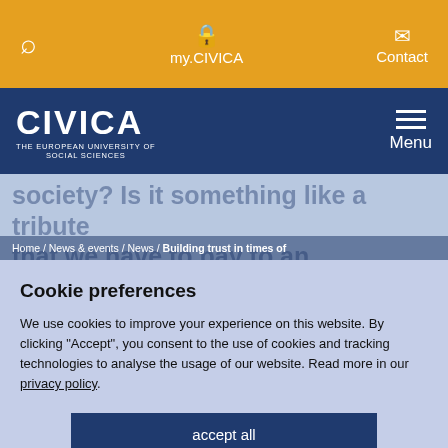my.CIVICA | Contact
[Figure (logo): CIVICA – The European University of Social Sciences logo in white on dark blue background]
society? Is it something like a tribute that we have to pay to an
Home / News & events / News / Building trust in times of
Cookie preferences
We use cookies to improve your experience on this website. By clicking "Accept", you consent to the use of cookies and tracking technologies to analyse the usage of our website. Read more in our privacy policy.
accept all
Only essential cookies
Individual preferences